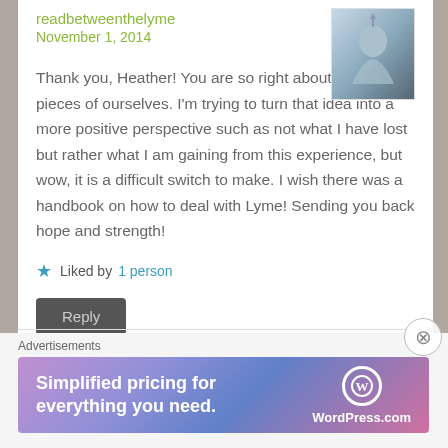readbetweenthelyme
November 1, 2014
[Figure (photo): Small avatar photo thumbnail showing a blue/grey figurine or object]
Thank you, Heather! You are so right about losing pieces of ourselves. I'm trying to turn that idea into a more positive perspective such as not what I have lost but rather what I am gaining from this experience, but wow, it is a difficult switch to make. I wish there was a handbook on how to deal with Lyme! Sending you back hope and strength!
★ Liked by 1 person
Reply
Advertisements
[Figure (screenshot): WordPress.com advertisement banner: 'Simplified pricing for everything you need.' with WordPress.com logo on gradient purple/pink background]